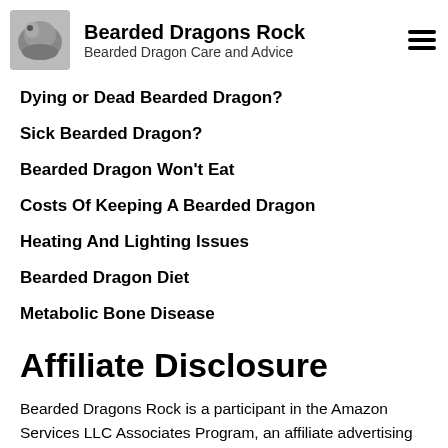Bearded Dragons Rock — Bearded Dragon Care and Advice
Dying or Dead Bearded Dragon?
Sick Bearded Dragon?
Bearded Dragon Won't Eat
Costs Of Keeping A Bearded Dragon
Heating And Lighting Issues
Bearded Dragon Diet
Metabolic Bone Disease
Affiliate Disclosure
Bearded Dragons Rock is a participant in the Amazon Services LLC Associates Program, an affiliate advertising program designed to provide a means for us to